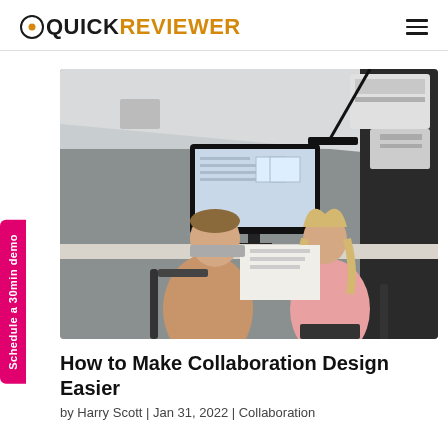QUICKREVIEWER
[Figure (photo): Two people collaborating at a desk with a computer monitor showing design software; one person in a tan turtleneck and one in a pink blouse, reviewing printed documents together in an office setting.]
How to Make Collaboration Design Easier
by Harry Scott | Jan 31, 2022 | Collaboration